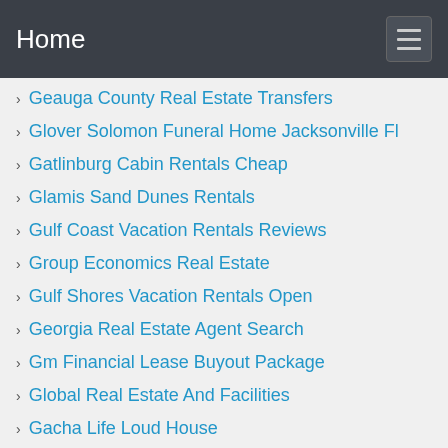Home
Geauga County Real Estate Transfers
Glover Solomon Funeral Home Jacksonville Fl
Gatlinburg Cabin Rentals Cheap
Glamis Sand Dunes Rentals
Gulf Coast Vacation Rentals Reviews
Group Economics Real Estate
Gulf Shores Vacation Rentals Open
Georgia Real Estate Agent Search
Gm Financial Lease Buyout Package
Global Real Estate And Facilities
Gacha Life Loud House
Gatlinburg Cabin Rentals With Pets